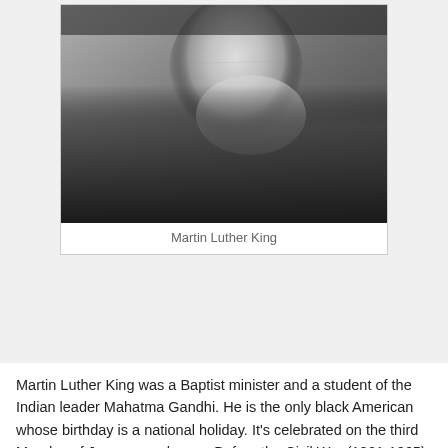[Figure (photo): Black and white photograph of Martin Luther King, shown from upper body, smiling, with hands clasped near his face, wearing a suit.]
Martin Luther King
Martin Luther King was a Baptist minister and a student of the Indian leader Mahatma Gandhi. He is the only black American whose birthday is a national holiday. It's celebrated on the third Monday of January each year. Before the Civil War (1861-1865), most black people in the USA were slaves, with no rights. In 1868 they got the right to vote. But in the Southern states there was still 'segregation' (separate schools, parks, restaurants, toilets for whites and blacks). In 1954 segregation in schools became illegal, but it still existed in other public places.
An African American woman named Rosa Parks was arrested on December 1, 1955, in Montgomery,